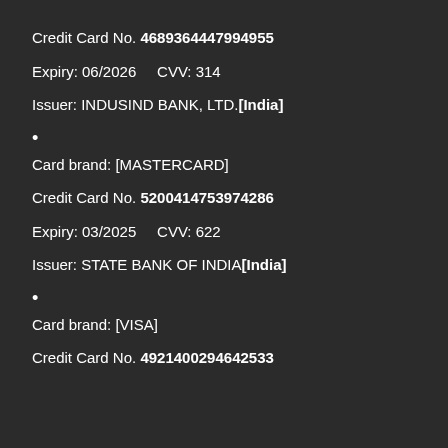Credit Card No. 4689364447994955
Expiry: 06/2026    CVV: 314
Issuer: INDUSIND BANK, LTD.[India]
•
Card brand: [MASTERCARD]
Credit Card No. 5200414753974286
Expiry: 03/2025    CVV: 622
Issuer: STATE BANK OF INDIA[India]
•
Card brand: [VISA]
Credit Card No. 4921400294642533